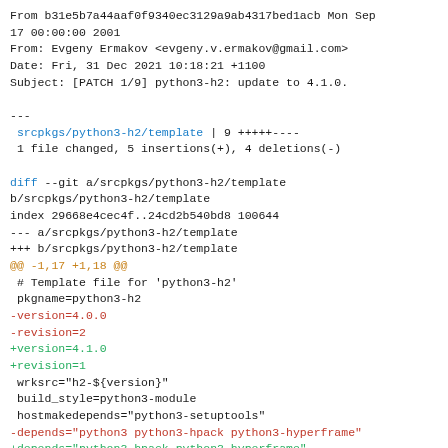From b31e5b7a44aaf0f9340ec3129a9ab4317bed1acb Mon Sep 17 00:00:00 2001
From: Evgeny Ermakov <evgeny.v.ermakov@gmail.com>
Date: Fri, 31 Dec 2021 10:18:21 +1100
Subject: [PATCH 1/9] python3-h2: update to 4.1.0.

---
srcpkgs/python3-h2/template | 9 +++++----
 1 file changed, 5 insertions(+), 4 deletions(-)

diff --git a/srcpkgs/python3-h2/template b/srcpkgs/python3-h2/template
index 29668e4cec4f..24cd2b540bd8 100644
--- a/srcpkgs/python3-h2/template
+++ b/srcpkgs/python3-h2/template
@@ -1,17 +1,18 @@
 # Template file for 'python3-h2'
 pkgname=python3-h2
-version=4.0.0
-revision=2
+version=4.1.0
+revision=1
 wrksrc="h2-${version}"
 build_style=python3-module
 hostmakedepends="python3-setuptools"
-depends="python3 python3-hpack python3-hyperframe"
+depends="python3-hpack python3-hyperframe"
+checkdepends="${depends} python3-hypothesis python3-pytest"
 short_desc="HTTP/2 State-Machine based protocol